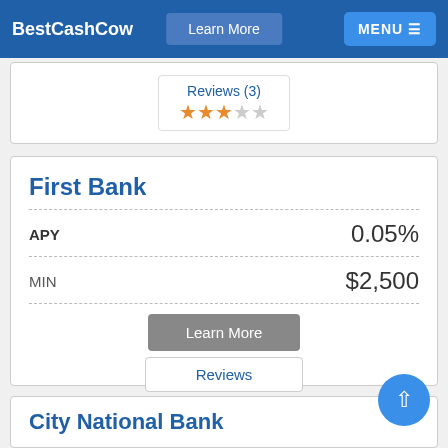BestCashCow   Learn More   MENU
Reviews (3) ★★★☆☆
First Bank
| Field | Value |
| --- | --- |
| APY | 0.05% |
| MIN | $2,500 |
Learn More
Reviews
City National Bank